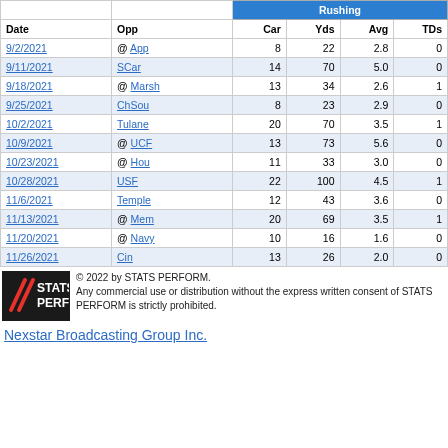| Date | Opp | Car | Yds | Avg | TDs |
| --- | --- | --- | --- | --- | --- |
| 9/2/2021 | @ App | 8 | 22 | 2.8 | 0 |
| 9/11/2021 | SCar | 14 | 70 | 5.0 | 0 |
| 9/18/2021 | @ Marsh | 13 | 34 | 2.6 | 1 |
| 9/25/2021 | ChSou | 8 | 23 | 2.9 | 0 |
| 10/2/2021 | Tulane | 20 | 70 | 3.5 | 1 |
| 10/9/2021 | @ UCF | 13 | 73 | 5.6 | 0 |
| 10/23/2021 | @ Hou | 11 | 33 | 3.0 | 0 |
| 10/28/2021 | USF | 22 | 100 | 4.5 | 1 |
| 11/6/2021 | Temple | 12 | 43 | 3.6 | 0 |
| 11/13/2021 | @ Mem | 20 | 69 | 3.5 | 1 |
| 11/20/2021 | @ Navy | 10 | 16 | 1.6 | 0 |
| 11/26/2021 | Cin | 13 | 26 | 2.0 | 0 |
[Figure (logo): STATS PERFORM logo — black background with red slash marks and white bold text]
© 2022 by STATS PERFORM. Any commercial use or distribution without the express written consent of STATS PERFORM is strictly prohibited.
Nexstar Broadcasting Group Inc.